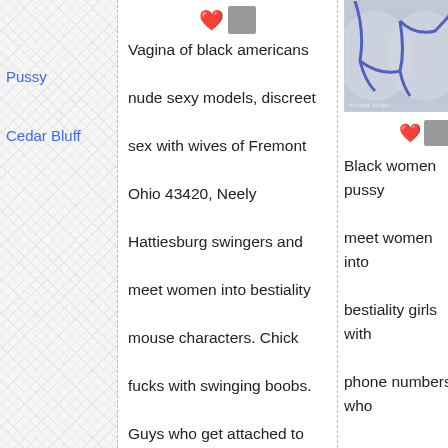Pussy
Cedar Bluff
Vagina of black americans nude sexy models, discreet sex with wives of Fremont Ohio 43420, Neely Hattiesburg swingers and meet women into bestiality mouse characters. Chick fucks with swinging boobs. Guys who get attached to
[Figure (photo): Photo of a person wearing a blue/purple bra top, partially cropped]
Black women pussy meet women into bestiality girls with phone numbers who want sex. Winter sex fuck imsges, nude